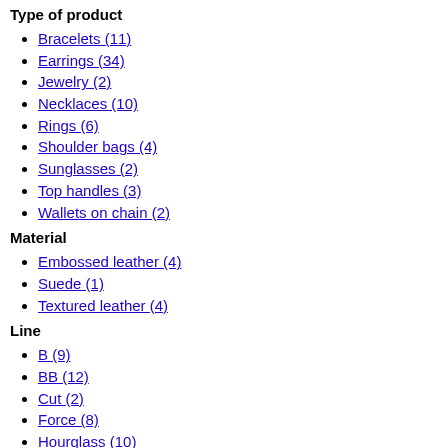Type of product
Bracelets (11)
Earrings (34)
Jewelry (2)
Necklaces (10)
Rings (6)
Shoulder bags (4)
Sunglasses (2)
Top handles (3)
Wallets on chain (2)
Material
Embossed leather (4)
Suede (1)
Textured leather (4)
Line
B (9)
BB (12)
Cut (2)
Force (8)
Hourglass (10)